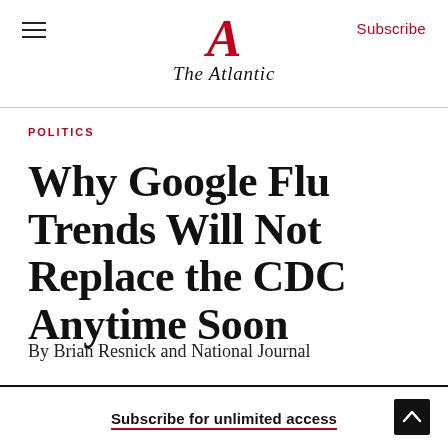The Atlantic
POLITICS
Why Google Flu Trends Will Not Replace the CDC Anytime Soon
By Brian Resnick and National Journal
Subscribe for unlimited access